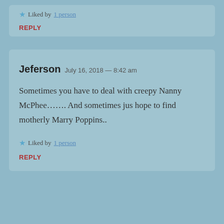Liked by 1 person
REPLY
Jeferson   July 16, 2018 — 8:42 am
Sometimes you have to deal with creepy Nanny McPhee....... And sometimes jus hope to find motherly Marry Poppins..
Liked by 1 person
REPLY